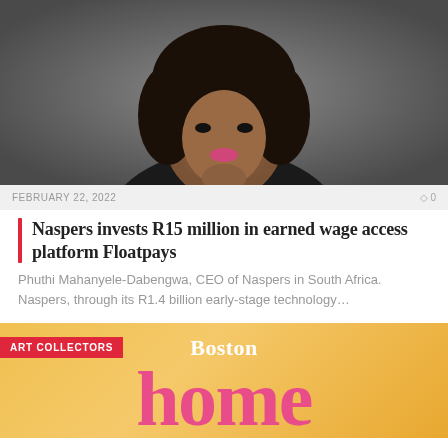[Figure (photo): Portrait of Phuthi Mahanyele-Dabengwa, CEO of Naspers in South Africa, wearing a black blazer against a grey background, with her hand raised to her chin]
FEBRUARY 22, 2022   0 0
Naspers invests R15 million in earned wage access platform Floatpays
Phuthi Mahanyele-Dabengwa, CEO of Naspers in South Africa. Naspers, through its R1.4 billion early-stage technology…
[Figure (photo): Magazine cover or thumbnail showing 'ART COLLECTORS' badge in red, 'Boston' in white serif font, and large pink 'home' text on an orange/yellow background]